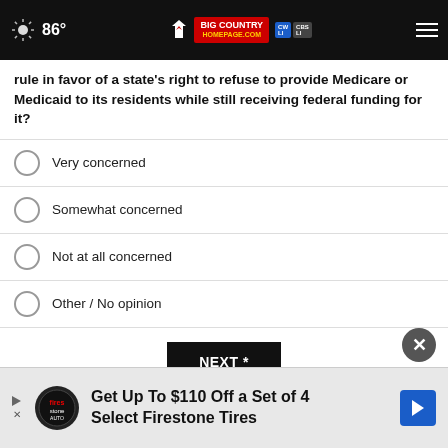86° Big Country Homepage
rule in favor of a state's right to refuse to provide Medicare or Medicaid to its residents while still receiving federal funding for it?
Very concerned
Somewhat concerned
Not at all concerned
Other / No opinion
NEXT *
* By clicking "NEXT" you agree to the following: We use cookies to track your survey answers. If you would like to continue with this survey, please read and agree to the CivicScience Privacy Policy and Terms of Service
[Figure (other): Advertisement: Get Up To $110 Off a Set of 4 Select Firestone Tires with Firestone logo and navigation icon]